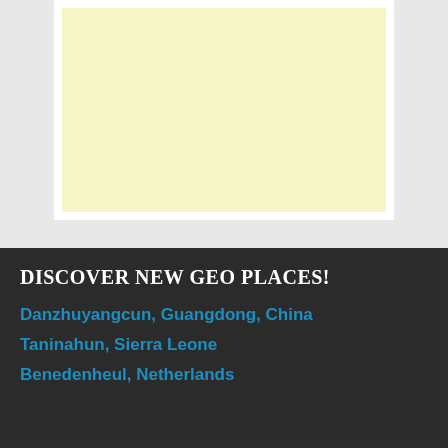[Figure (other): Advertisement placeholder area with light yellow background inside a white bordered container, shown on a light gray background]
DISCOVER NEW GEO PLACES!
Danzhuyangcun, Guangdong, China
Taninahun, Sierra Leone
Benedenheul, Netherlands